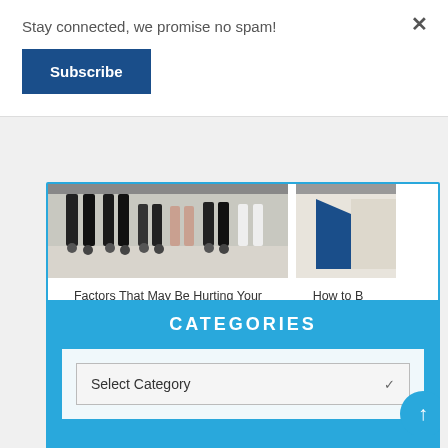Stay connected, we promise no spam!
Subscribe
×
[Figure (photo): Cropped photo showing legs of multiple people seated around a table with office chairs]
[Figure (photo): Partial photo on right side, partially visible, showing a blue object and light background]
Factors That May Be Hurting Your Job Search
How to B... Be...
CATEGORIES
Select Category